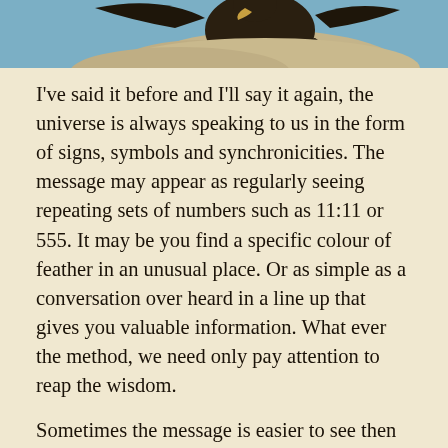[Figure (photo): Partial photo of a bird (eagle or hawk) perched on a rock, with sky background. Only the bottom portion of the bird is visible at the top of the page.]
I've said it before and I'll say it again, the universe is always speaking to us in the form of signs, symbols and synchronicities. The message may appear as regularly seeing repeating sets of numbers such as 11:11 or 555. It may be you find a specific colour of feather in an unusual place. Or as simple as a conversation over heard in a line up that gives you valuable information. What ever the method, we need only pay attention to reap the wisdom.
Sometimes the message is easier to see then at other times. Yesterday was one of those times.
When a recurring incident or theme repeats itself several times in a short period, it is wise to take notice. Even if you don't understand the message, at least take note that one is being presented. Perhaps in time, and with a little insight or